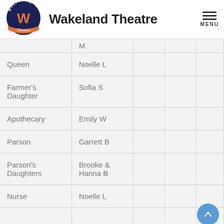Wakeland Theatre
| Role | Cast |  |  |  |
| --- | --- | --- | --- | --- |
| M |  |  |  |  |
| Queen | Noelle L |  |  |  |
| Farmer's Daughter | Sofia S |  |  |  |
| Apothecary | Emily W |  |  |  |
| Parson | Garrett B |  |  |  |
| Parson's Daughters | Brooke & Hanna B |  |  |  |
| Nurse | Noelle L |  |  |  |
|  |  |  |  |  |